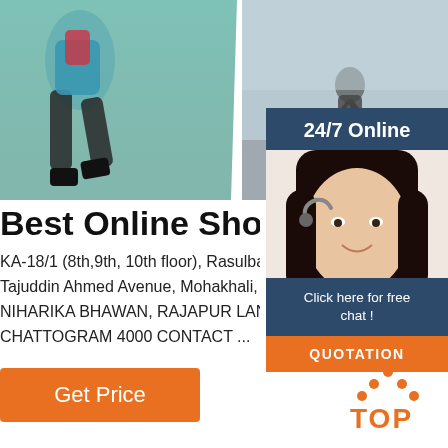[Figure (photo): Three sports photos side by side: runner, cyclist, hiker with backpack]
24/7 Online
[Figure (photo): Customer support agent woman with headset smiling]
Click here for free chat !
QUOTATION
Best Online Shopping in
KA-18/1 (8th,9th, 10th floor), Rasulbag, S
Tajuddin Ahmed Avenue, Mohakhali, Dha
NIHARIKA BHAWAN, RAJAPUR LANE, A
CHATTOGRAM 4000 CONTACT ...
Get Price
[Figure (logo): TOP logo with orange dots forming an upward arrow above the word TOP in orange]